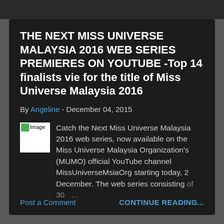THE NEXT MISS UNIVERSE MALAYSIA 2016 WEB SERIES PREMIERES ON YOUTUBE -Top 14 finalists vie for the title of Miss Universe Malaysia 2016
By Angeline - December 04, 2015
Catch the Next Miss Universe Malaysia 2016 web series, now available on the Miss Universe Malaysia Organization's (MUMO) official YouTube channel MissUniverseMsiaOrg starting today, 2 December. The web series consisting of 30 ...
Post a Comment
CONTINUE READING...